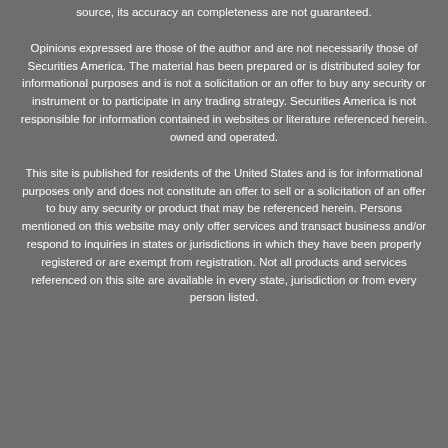source, its accuracy an completeness are not guaranteed.
Opinions expressed are those of the author and are not necessarily those of Securities America. The material has been prepared or is distributed soley for informational purposes and is not a solicitation or an offer to buy any security or instrument or to participate in any trading strategy. Securities America is not responsible for information contained in websites or literature referenced herein. owned and operated.
This site is published for residents of the United States and is for informational purposes only and does not constitute an offer to sell or a solicitation of an offer to buy any security or product that may be referenced herein. Persons mentioned on this website may only offer services and transact business and/or respond to inquiries in states or jurisdictions in which they have been properly registered or are exempt from registration. Not all products and services referenced on this site are available in every state, jurisdiction or from every person listed.